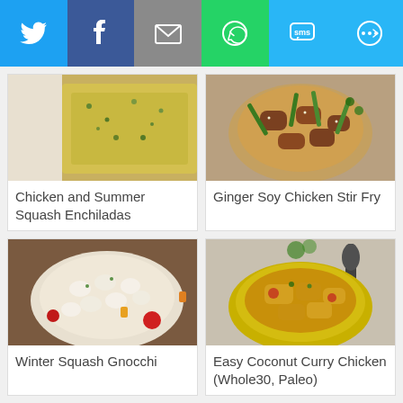[Figure (infographic): Social share bar with Twitter, Facebook, Email, WhatsApp, SMS, and Other icons]
[Figure (photo): Chicken and Summer Squash Enchiladas in a baking dish]
Chicken and Summer Squash Enchiladas
[Figure (photo): Ginger Soy Chicken Stir Fry in a bowl with green beans]
Ginger Soy Chicken Stir Fry
[Figure (photo): Winter Squash Gnocchi with cherry tomatoes in a bowl]
Winter Squash Gnocchi
[Figure (photo): Easy Coconut Curry Chicken in a yellow bowl]
Easy Coconut Curry Chicken (Whole30, Paleo)